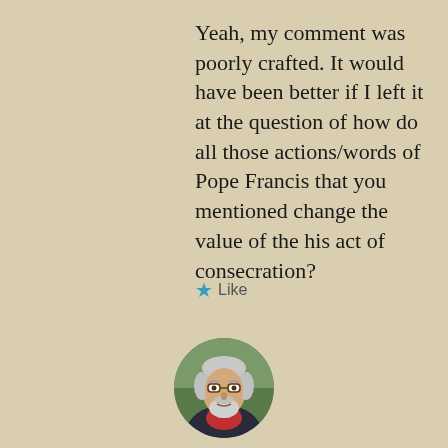Yeah, my comment was poorly crafted. It would have been better if I left it at the question of how do all those actions/words of Pope Francis that you mentioned change the value of the his act of consecration?
★ Like
[Figure (photo): Circular profile photo of an older man with white hair, glasses, and a beard, wearing a red shirt and dark jacket, photographed outdoors.]